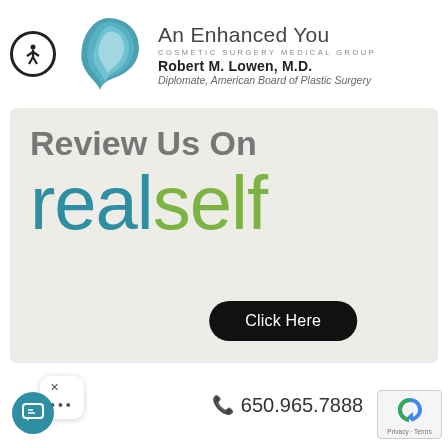[Figure (logo): Accessibility icon (person with arms out in circle), face profile logo for An Enhanced You Cosmetic Surgery Medical Group]
An Enhanced You
COSMETIC SURGERY MEDICAL GROUP
Robert M. Lowen, M.D.
Diplomate, American Board of Plastic Surgery
[Figure (infographic): Light gray banner with text: Review Us On realself, and a black pill-shaped Click Here button]
650.965.7888